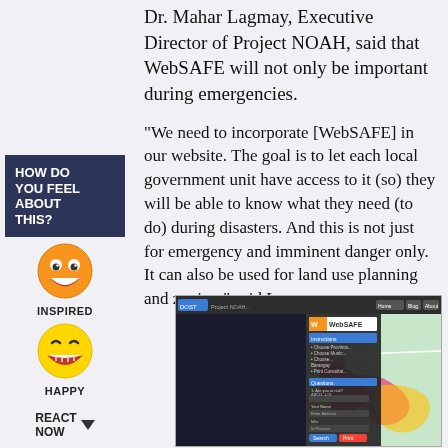Dr. Mahar Lagmay, Executive Director of Project NOAH, said that WebSAFE will not only be important during emergencies.
"We need to incorporate [WebSAFE] in our website. The goal is to let each local government unit have access to it (so) they will be able to know what they need (to do) during disasters. And this is not just for emergency and imminent danger only. It can also be used for land use planning and zoning," said Lagmay.
HOW DO YOU FEEL ABOUT THIS?
[Figure (illustration): Orange emoji face labeled INSPIRED]
[Figure (illustration): Yellow smiley emoji face labeled HAPPY]
REACT NOW
[Figure (screenshot): Screenshot of WebSAFE application on DOST Project NOAH website showing a flood hazard map with WebSAFE interface panel on the left side.]